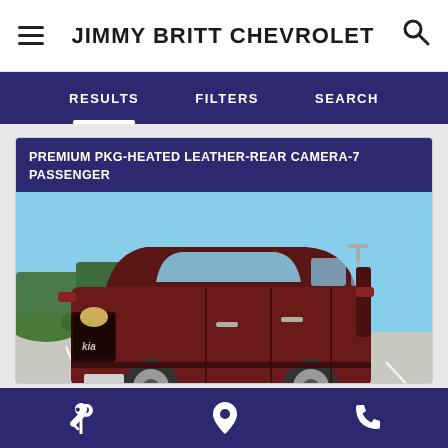JIMMY BRITT CHEVROLET
RESULTS  FILTERS  SEARCH
PREMIUM PKG-HEATED LEATHER-REAR CAMERA-7 PASSENGER
[Figure (photo): Dark red/maroon Kia minivan (Sedona) parked in a parking lot with trees and blue sky in background]
Service icon | Location icon | Phone icon